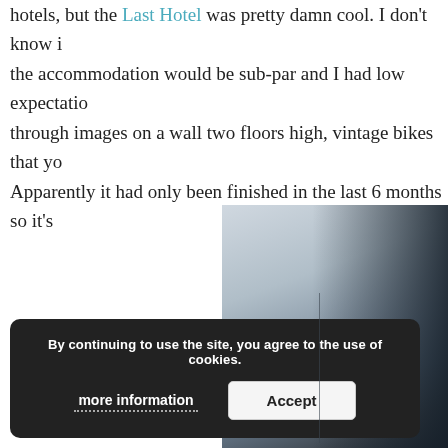hotels, but the Last Hotel was pretty damn cool. I don't know if the accommodation would be sub-par and I had low expectations through images on a wall two floors high, vintage bikes that yo Apparently it had only been finished in the last 6 months so it's
[Figure (photo): Interior architectural photo showing modern smooth wall panels or wardrobe doors in grey and silver tones, with dark right edge. Appears to be a hotel room interior.]
By continuing to use the site, you agree to the use of cookies. more information Accept